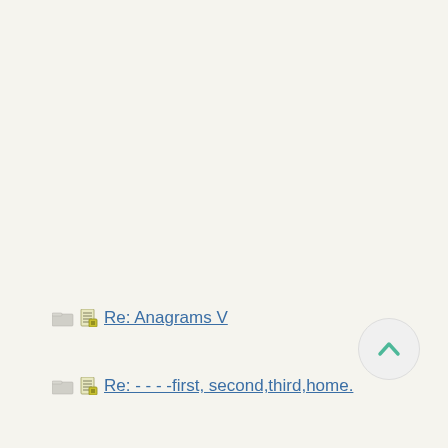Re: Anagrams V
Re: - - - -first, second,third,home.